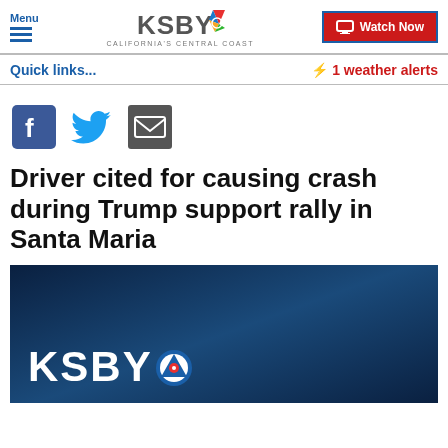Menu | KSBY California's Central Coast | Watch Now
Quick links...
⚡ 1 weather alerts
[Figure (infographic): Social share icons: Facebook, Twitter, Email]
Driver cited for causing crash during Trump support rally in Santa Maria
[Figure (photo): KSBY news station branded image with dark blue background and KSBY logo watermark]